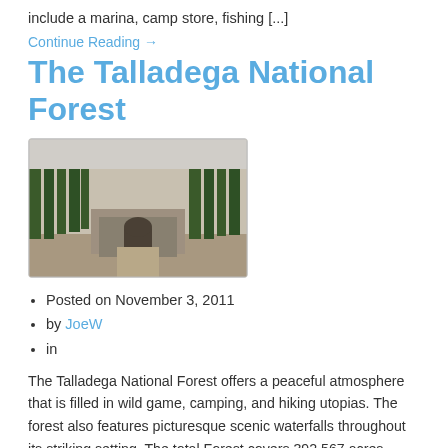include a marina, camp store, fishing [...]
Continue Reading →
The Talladega National Forest
[Figure (photo): Photograph of a forest building or entrance structure surrounded by tall pine trees, in black and white or muted tones.]
Posted on November 3, 2011
by JoeW
in
The Talladega National Forest offers a peaceful atmosphere that is filled in wild game, camping, and hiking utopias. The forest also features picturesque scenic waterfalls throughout its striking setting. The total Forest covers 392,567 acres